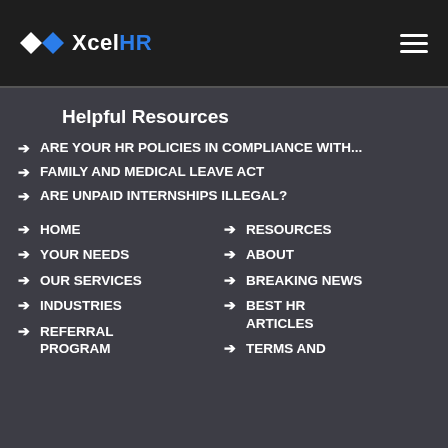XcelHR
Helpful Resources
ARE YOUR HR POLICIES IN COMPLIANCE WITH...
FAMILY AND MEDICAL LEAVE ACT
ARE UNPAID INTERNSHIPS ILLEGAL?
HOME
YOUR NEEDS
OUR SERVICES
INDUSTRIES
REFERRAL PROGRAM
RESOURCES
ABOUT
BREAKING NEWS
BEST HR ARTICLES
TERMS AND